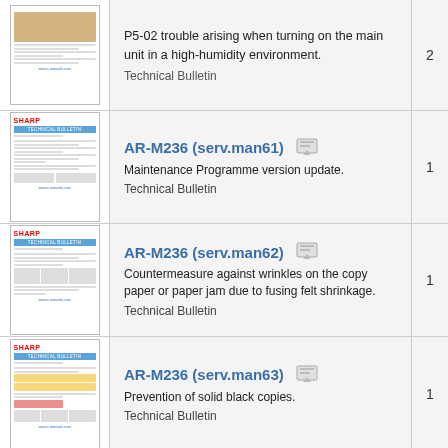[Figure (screenshot): Thumbnail of a Sharp technical bulletin document page (cropped, partial view at top)]
P5-02 trouble arising when turning on the main unit in a high-humidity environment.
Technical Bulletin
2
[Figure (screenshot): Thumbnail of Sharp AR-M236 serv.man61 technical bulletin document]
AR-M236 (serv.man61)
Maintenance Programme version update.
Technical Bulletin
1
[Figure (screenshot): Thumbnail of Sharp AR-M236 serv.man62 technical bulletin document]
AR-M236 (serv.man62)
Countermeasure against wrinkles on the copy paper or paper jam due to fusing felt shrinkage.
Technical Bulletin
1
[Figure (screenshot): Thumbnail of Sharp AR-M236 serv.man63 technical bulletin document]
AR-M236 (serv.man63)
Prevention of solid black copies.
Technical Bulletin
1